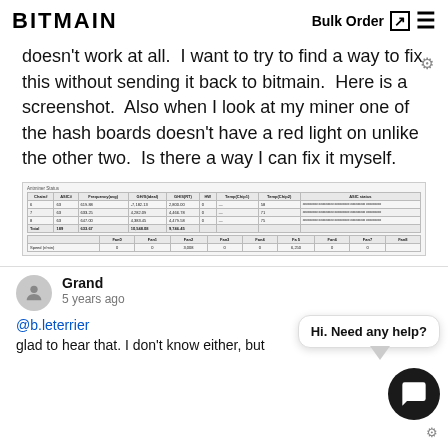BITMAIN    Bulk Order  ☰
doesn't work at all.  I want to try to find a way to fix this without sending it back to bitmain.  Here is a screenshot.  Also when I look at my miner one of the hash boards doesn't have a red light on unlike the other two.  Is there a way I can fix it myself.
[Figure (screenshot): Screenshot of miner status table showing chain, ASIC, frequency, GH/S data, PW, Temp/Chip columns, and ASIC status. Below: Fan speed table with Fan0 through Fan8 rows.]
Grand
5 years ago
@b.leterrier
glad to hear that. I don't know either, but